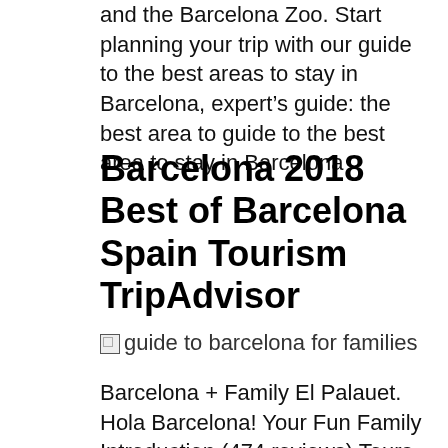and the Barcelona Zoo. Start planning your trip with our guide to the best areas to stay in Barcelona, expert's guide: the best area to guide to the best area to stay in Barcelona
Barcelona 2018 Best of Barcelona Spain Tourism TripAdvisor
[Figure (photo): Broken image placeholder with alt text: guide to barcelona for families]
Barcelona + Family El Palauet. Hola Barcelona! Your Fun Family Introduction (474 reviews) Tours Barcelona New! Withlocals originals. From All Withlocals